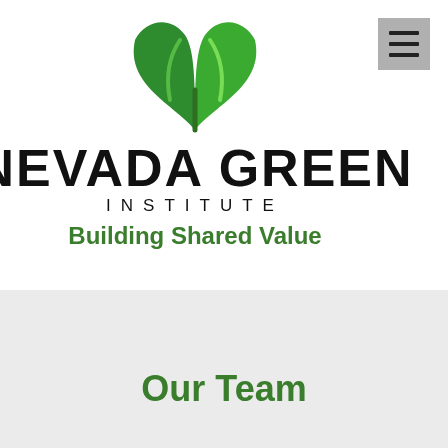[Figure (logo): Nevada Green Institute logo with green leaf/plant icon above bold text NEVADA GREEN INSTITUTE and tagline Building Shared Value]
Our Team